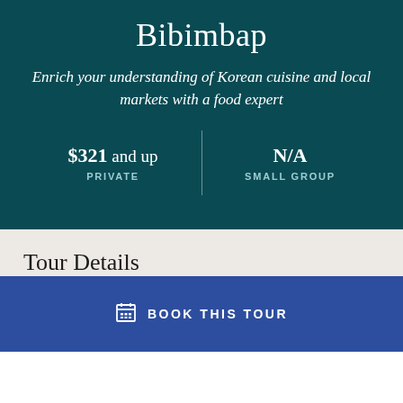Bibimbap
Enrich your understanding of Korean cuisine and local markets with a food expert
$321 and up
PRIVATE
N/A
SMALL GROUP
Tour Details
About the Tour
BOOK THIS TOUR